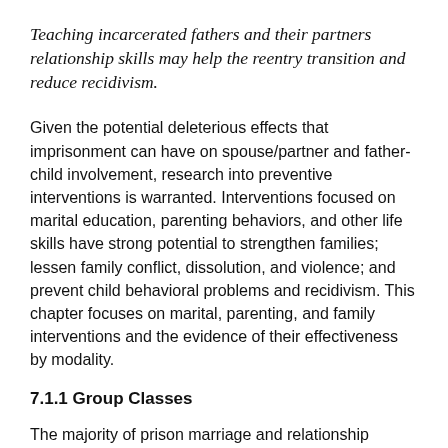Teaching incarcerated fathers and their partners relationship skills may help the reentry transition and reduce recidivism.
Given the potential deleterious effects that imprisonment can have on spouse/partner and father-child involvement, research into preventive interventions is warranted. Interventions focused on marital education, parenting behaviors, and other life skills have strong potential to strengthen families; lessen family conflict, dissolution, and violence; and prevent child behavioral problems and recidivism. This chapter focuses on marital, parenting, and family interventions and the evidence of their effectiveness by modality.
7.1.1 Group Classes
The majority of prison marriage and relationship education programs are designed as a series of group